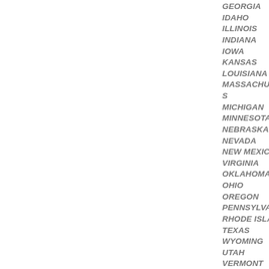GEORGIA
IDAHO
ILLINOIS
INDIANA
IOWA
KANSAS
LOUISIANA
MASSACHUSETTS
MICHIGAN
MINNESOTA
NEBRASKA
NEVADA
NEW MEXICO
VIRGINIA
OKLAHOMA
OHIO
OREGON
PENNSYLVANIA
RHODE ISLAND
TEXAS
WYOMING
UTAH
VERMONT
HAWAII
MONTANA
MARYLAND
ARKANSAS